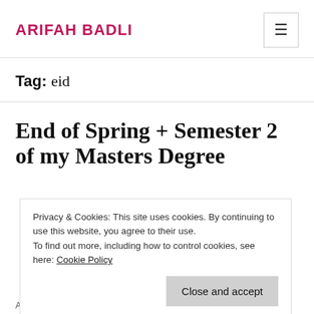ARIFAH BADLI
Tag: eid
End of Spring + Semester 2 of my Masters Degree
Privacy & Cookies: This site uses cookies. By continuing to use this website, you agree to their use.
To find out more, including how to control cookies, see here: Cookie Policy
Although by the state of the weather you'd think it's late September,